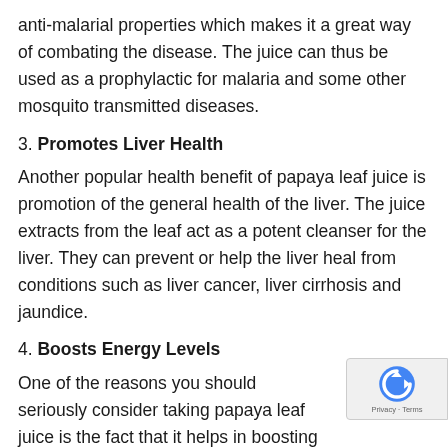anti-malarial properties which makes it a great way of combating the disease. The juice can thus be used as a prophylactic for malaria and some other mosquito transmitted diseases.
3. Promotes Liver Health
Another popular health benefit of papaya leaf juice is promotion of the general health of the liver. The juice extracts from the leaf act as a potent cleanser for the liver. They can prevent or help the liver heal from conditions such as liver cancer, liver cirrhosis and jaundice.
4. Boosts Energy Levels
One of the reasons you should seriously consider taking papaya leaf juice is the fact that it helps in boosting energy levels. It not only cleanses the body but also it and effectively treats the body of chronic fatigue.